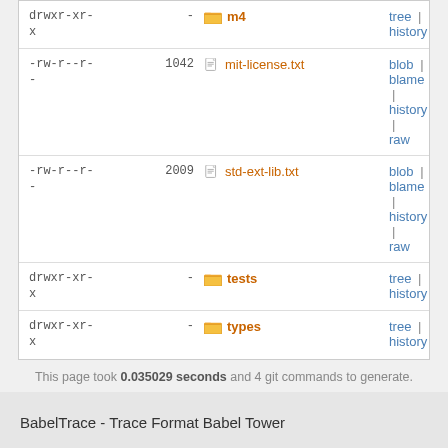| permissions | size | name | actions |
| --- | --- | --- | --- |
| drwxr-xr-x | - | m4 | tree | history |
| -rw-r--r-- | 1042 | mit-license.txt | blob | blame | history | raw |
| -rw-r--r-- | 2009 | std-ext-lib.txt | blob | blame | history | raw |
| drwxr-xr-x | - | tests | tree | history |
| drwxr-xr-x | - | types | tree | history |
This page took 0.035029 seconds and 4 git commands to generate.
BabelTrace - Trace Format Babel Tower
Atom  RSS